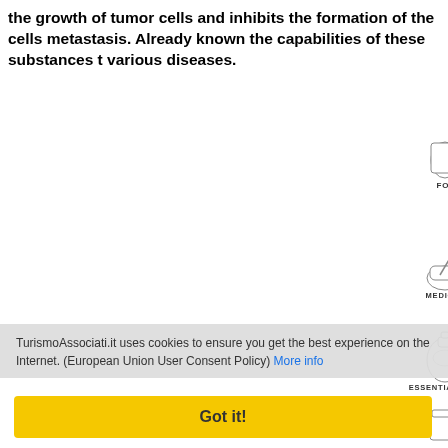the growth of tumor cells and inhibits the formation of the cells metastasis. Already known the capabilities of these substances to various diseases.
[Figure (illustration): Infographic showing cannabis plant with lines pointing to various uses: FOOD (beer mug and bottle), PAPER PRODUCTS (blocks and papers), MEDICINES (mortar and pestle, medicine bottle), ESSENTIAL OILS (decorative bottle/vase), NUTRITIONAL SUPPLEMENTS (jar and pills/capsules), and partial animal image at bottom.]
TurismoAssociati.it uses cookies to ensure you get the best experience on the Internet. (European Union User Consent Policy) More info
Got it!